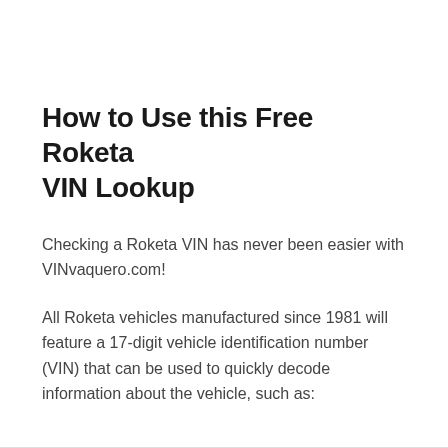How to Use this Free Roketa VIN Lookup
Checking a Roketa VIN has never been easier with VINvaquero.com!
All Roketa vehicles manufactured since 1981 will feature a 17-digit vehicle identification number (VIN) that can be used to quickly decode information about the vehicle, such as: